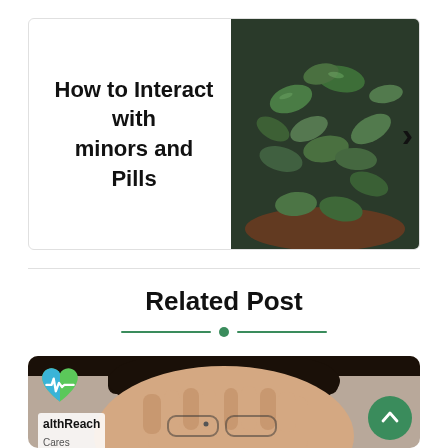How to Interact with minors and Pills
[Figure (photo): Green pills/capsules in a reddish bowl]
Related Post
[Figure (photo): Person covering face with hands, HealthReach Cares logo overlay, scroll-to-top button]